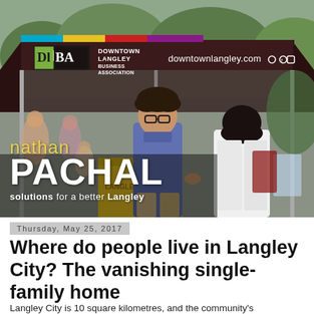[Figure (photo): Outdoor community event photo showing two people talking under a Downtown Langley Business Association (DLBA) tent. The tent is dark brown/maroon with the DLBA logo and downtownlangley.com website. A young man with glasses and curly hair in a blue shirt and tan pants speaks with a woman in a white jacket. Overlaid on the lower-left is the name 'nathan PACHAL' with tagline 'solutions for a better Langley'.]
Thursday, May 25, 2017
Where do people live in Langley City? The vanishing single-family home
Langley City is 10 square kilometres, and the community's